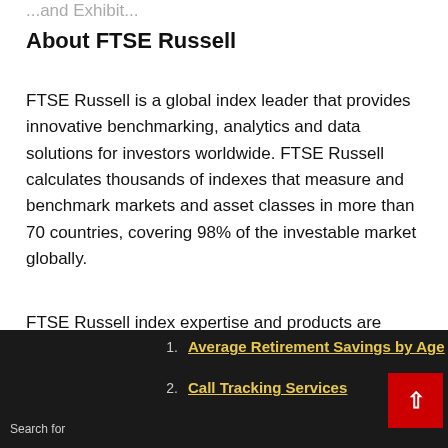...and Exhibit...
About FTSE Russell
FTSE Russell is a global index leader that provides innovative benchmarking, analytics and data solutions for investors worldwide. FTSE Russell calculates thousands of indexes that measure and benchmark markets and asset classes in more than 70 countries, covering 98% of the investable market globally.
FTSE Russell index expertise and products are used extensively by institutional and retail investors globally. Approximately $20 trillion is currently benchmarked to FTSE Russell indexes. For over 30 years, leading asset owners, asset managers, FTE...
1. Average Retirement Savings by Age
2. Call Tracking Services
Search for